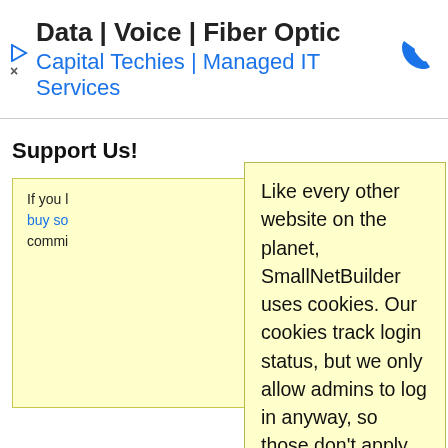[Figure (screenshot): Ad banner: Data | Voice | Fiber Optic, Capital Techies | Managed IT Services with phone icon]
Support Us!
If you like us, just buy so[mething]... all commi[ssion]
Like every other website on the planet, SmallNetBuilder uses cookies. Our cookies track login status, but we only allow admins to log in anyway, so those don't apply to you. Any other cookies you pick up during your visit come from advertisers, which we don't control.
If you continue to use the site, you agree to tolerate our use of cookies. Thank you!